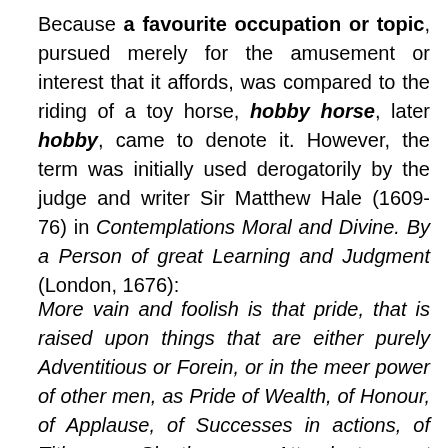Because a favourite occupation or topic, pursued merely for the amusement or interest that it affords, was compared to the riding of a toy horse, hobby horse, later hobby, came to denote it. However, the term was initially used derogatorily by the judge and writer Sir Matthew Hale (1609-76) in Contemplations Moral and Divine. By a Person of great Learning and Judgment (London, 1676):
More vain and foolish is that pride, that is raised upon things that are either purely Adventitious or Forein, or in the meer power of other men, as Pride of Wealth, of Honour, of Applause, of Successes in actions, of Titles, gay Cloaths, many Attendants, great Equipage, Precedency, and such like accessions: And yet it is admirable to observe the Vanity of the generality of mankind, in this respect; there is scarce a man to be found abroad in the world, who hath not some elation of mind...